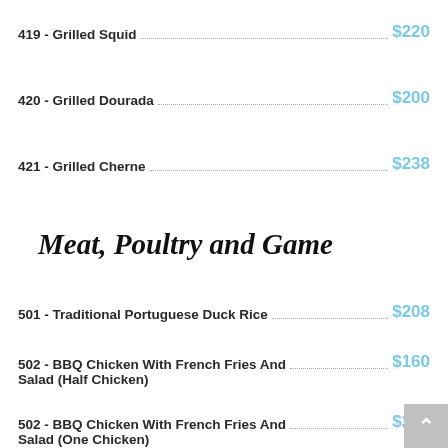419 - Grilled Squid $220
420 - Grilled Dourada $200
421 - Grilled Cherne $238
Meat, Poultry and Game
501 - Traditional Portuguese Duck Rice $208
502 - BBQ Chicken With French Fries And Salad (Half Chicken) $160
502 - BBQ Chicken With French Fries And Salad (One Chicken) $208